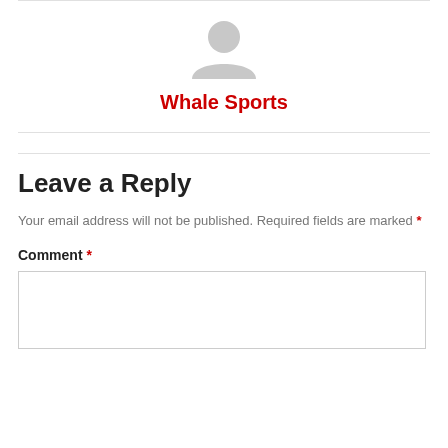[Figure (illustration): Gray user avatar silhouette icon]
Whale Sports
Leave a Reply
Your email address will not be published. Required fields are marked *
Comment *